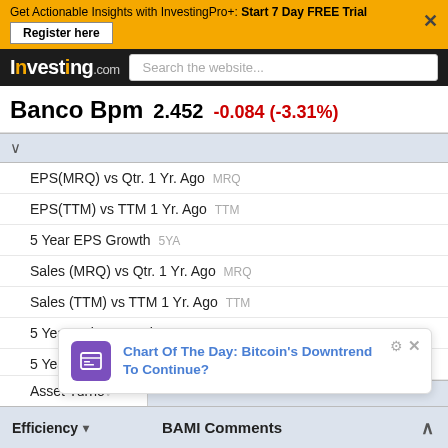Get Actionable Insights with InvestingPro+: Start 7 Day FREE Trial  Register here
Investing.com  Search the website...
Banco Bpm  2.452  -0.084 (-3.31%)
EPS(MRQ) vs Qtr. 1 Yr. Ago MRQ
EPS(TTM) vs TTM 1 Yr. Ago TTM
5 Year EPS Growth 5YA
Sales (MRQ) vs Qtr. 1 Yr. Ago MRQ
Sales (TTM) vs TTM 1 Yr. Ago TTM
5 Year Sales Growth 5YA
5 Year Capital Spending Growth 5YA
Quick Ratio MRQ
Current Ratio MRQ
LT Debt to Equity
Total Debt to Equity MRQ
Chart Of The Day: Bitcoin's Downtrend To Continue?
Efficiency
BAMI Comments
Asset Turnov